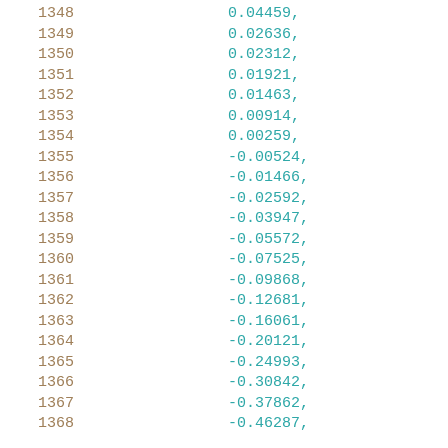1348    0.04459,
1349    0.02636,
1350    0.02312,
1351    0.01921,
1352    0.01463,
1353    0.00914,
1354    0.00259,
1355   -0.00524,
1356   -0.01466,
1357   -0.02592,
1358   -0.03947,
1359   -0.05572,
1360   -0.07525,
1361   -0.09868,
1362   -0.12681,
1363   -0.16061,
1364   -0.20121,
1365   -0.24993,
1366   -0.30842,
1367   -0.37862,
1368   -0.46287,